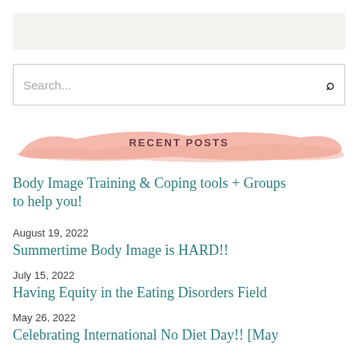[Figure (other): Light beige/grey header bar area at the top of the sidebar]
[Figure (other): Search box with placeholder text 'Search...' and a search icon on the right]
RECENT POSTS
Body Image Training & Coping tools + Groups to help you!
August 19, 2022
Summertime Body Image is HARD!!
July 15, 2022
Having Equity in the Eating Disorders Field
May 26, 2022
Celebrating International No Diet Day!! [May